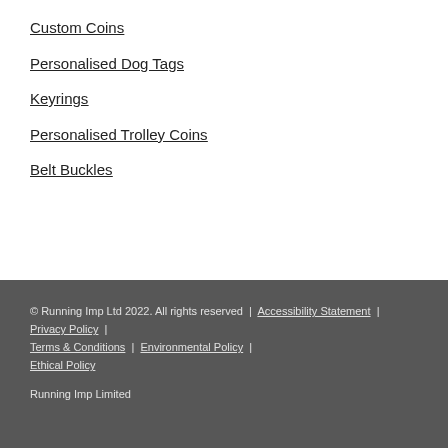Custom Coins
Personalised Dog Tags
Keyrings
Personalised Trolley Coins
Belt Buckles
© Running Imp Ltd 2022. All rights reserved | Accessibility Statement | Privacy Policy | Terms & Conditions | Environmental Policy | Ethical Policy
Running Imp Limited